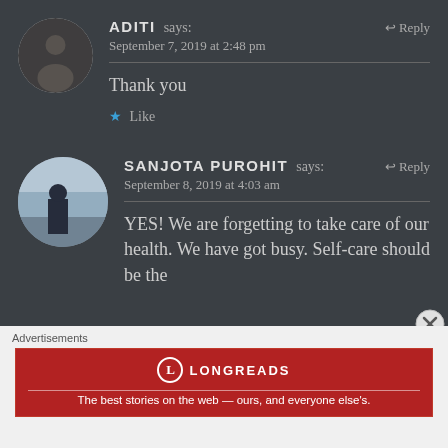ADITI says: Reply
September 7, 2019 at 2:48 pm
Thank you
★ Like
SANJOTA PUROHIT says: Reply
September 8, 2019 at 4:03 am
YES! We are forgetting to take care of our health. We have got busy. Self-care should be the
[Figure (other): Longreads advertisement banner: red background with circular logo, brand name LONGREADS, tagline: The best stories on the web — ours, and everyone else's.]